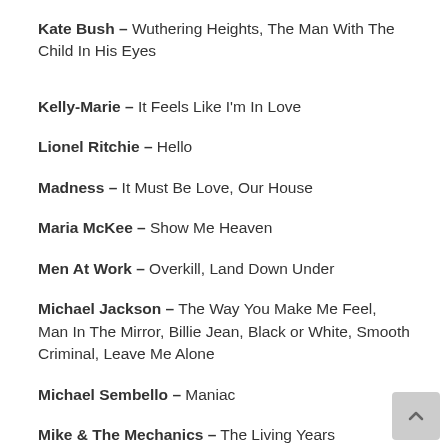Kate Bush – Wuthering Heights, The Man With The Child In His Eyes
Kelly-Marie – It Feels Like I'm In Love
Lionel Ritchie – Hello
Madness – It Must Be Love, Our House
Maria McKee – Show Me Heaven
Men At Work – Overkill, Land Down Under
Michael Jackson – The Way You Make Me Feel, Man In The Mirror, Billie Jean, Black or White, Smooth Criminal, Leave Me Alone
Michael Sembello – Maniac
Mike & The Mechanics – The Living Years
Pet Shop Boys – It's a Sin, Go West, Se'a Vida e